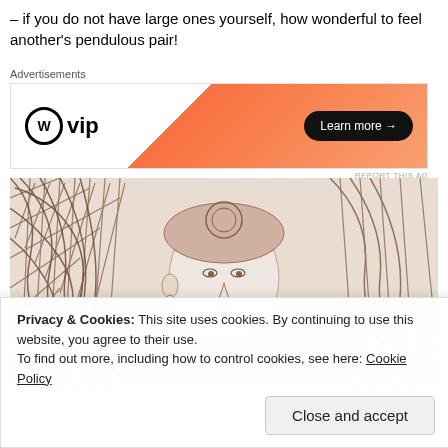– if you do not have large ones yourself, how wonderful to feel another's pendulous pair!
[Figure (advertisement): WordPress VIP advertisement banner with orange gradient and 'Learn more →' button]
[Figure (illustration): Pencil/charcoal sketch of a person's face and flowing hair with brown/sepia tones]
Privacy & Cookies: This site uses cookies. By continuing to use this website, you agree to their use.
To find out more, including how to control cookies, see here: Cookie Policy
Close and accept